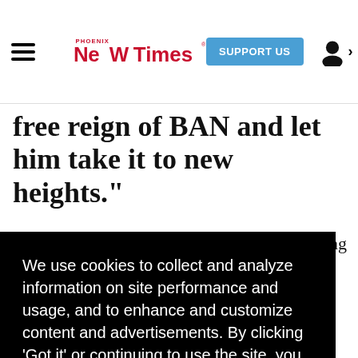Phoenix New Times — SUPPORT US — user icon
free reign of BAN and let him take it to new heights."
We use cookies to collect and analyze information on site performance and usage, and to enhance and customize content and advertisements. By clicking 'Got it' or continuing to use the site, you agree to allow cookies to be placed. To find out more, visit our cookies policy and our privacy policy.
Got it!